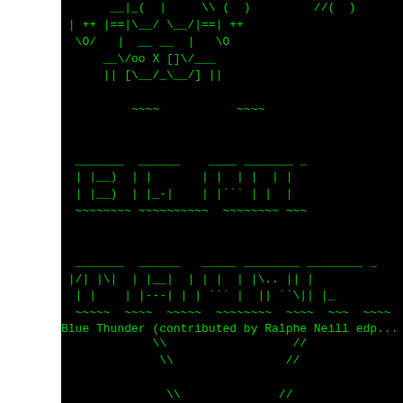[Figure (other): ASCII art text/logo displayed in green monospace on black background. Shows stylized ASCII art characters forming decorative robot or figure shapes, with tilde wave decorators. Partially cropped on the right side. Contains attribution line: 'Blue Thunder (contributed by Ralphe Neill edp...' and additional ASCII art below.]
Blue Thunder (contributed by Ralphe Neill edp...